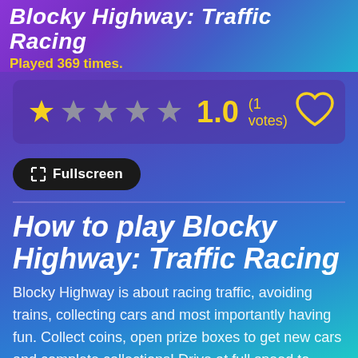Blocky Highway: Traffic Racing
Played 369 times.
[Figure (other): Star rating widget showing 1 filled yellow star and 4 grey stars, rating of 1.0 with 1 votes, and a heart icon]
Fullscreen
How to play Blocky Highway: Traffic Racing
Blocky Highway is about racing traffic, avoiding trains, collecting cars and most importantly having fun. Collect coins, open prize boxes to get new cars and complete collections! Drive at full speed to score big and be the #1. Crash time! Control your car after crash, hit traffic cars for extra score! Key